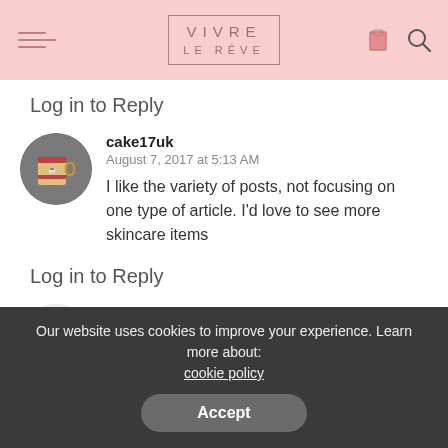VIVRE LE RÊVE
Log in to Reply
cake17uk
August 7, 2017 at 5:13 AM
I like the variety of posts, not focusing on one type of article. I'd love to see more skincare items
Log in to Reply
styles5433
August 7, 2017 at 10:00 AM
Our website uses cookies to improve your experience. Learn more about: cookie policy
Accept